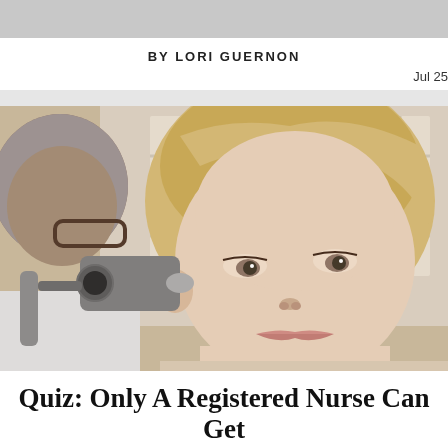BY LORI GUERNON
Jul 25
[Figure (photo): A doctor or medical professional examining a young blonde girl's ear with an otoscope. The child appears calm. The medical professional is older with grey hair and glasses.]
Quiz: Only A Registered Nurse Can Get